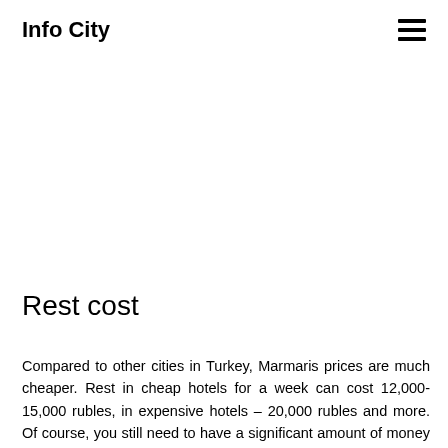Info City
Rest cost
Compared to other cities in Turkey, Marmaris prices are much cheaper. Rest in cheap hotels for a week can cost 12,000-15,000 rubles, in expensive hotels – 20,000 rubles and more. Of course, you still need to have a significant amount of money for excursions and numerous entertainments. Meals in many cheap hotels are not plentiful and varied, but there are a lot of excellent